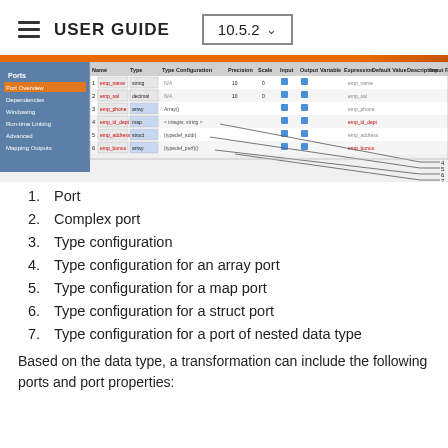USER GUIDE  10.5.2
[Figure (screenshot): Screenshot of a port configuration table with columns for Ports, Name, Type, Type Configuration, Precision, Scale, Input, Output, Variable, Expression, Default Value, Description, Input Rules. Rows include emp_name (string), emp_sal (decimal), emp_phone (array), emp_id_dept (map), emp_address (struct), emp_bonus (array). Callout lines labeled 4-7 point to type configuration cells.]
Port
Complex port
Type configuration
Type configuration for an array port
Type configuration for a map port
Type configuration for a struct port
Type configuration for a port of nested data type
Based on the data type, a transformation can include the following ports and port properties: